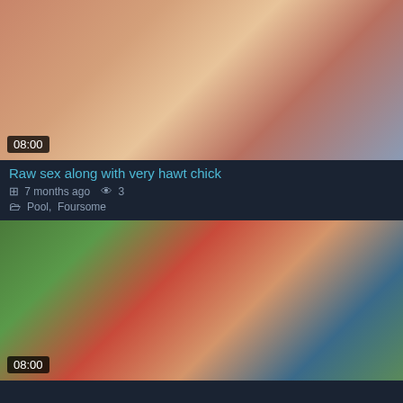[Figure (photo): Video thumbnail showing adult content, outdoor pool setting with people]
08:00
Raw sex along with very hawt chick
7 months ago   3
Pool, Foursome
[Figure (photo): Video thumbnail showing adult content, outdoor pool setting with person in red and straw hat]
08:00